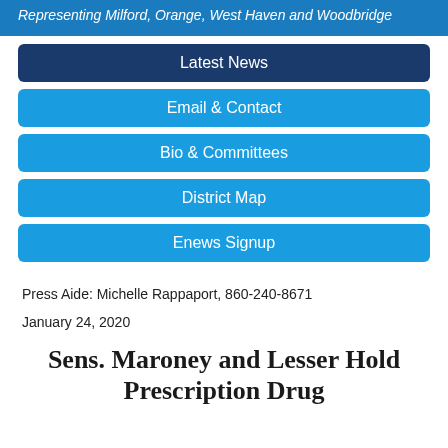Representing Milford, Orange, West Haven and Woodbridge
Latest News
Email & Contact
Bio & Committees
District Map
Enews Signup
Press Aide: Michelle Rappaport, 860-240-8671
January 24, 2020
Sens. Maroney and Lesser Hold Prescription Drug